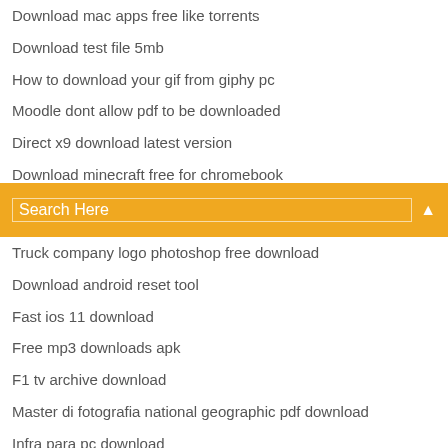Download mac apps free like torrents
Download test file 5mb
How to download your gif from giphy pc
Moodle dont allow pdf to be downloaded
Direct x9 download latest version
Download minecraft free for chromebook
How to download files from wetransfer on iphone
[Figure (screenshot): Orange search bar with 'Search Here' placeholder text and a search icon on the right]
Truck company logo photoshop free download
Download android reset tool
Fast ios 11 download
Free mp3 downloads apk
F1 tv archive download
Master di fotografia national geographic pdf download
Infra para pc download
How to download bo4 beta on ps4
Tencent gaming buddy download torrent
Dragon age inquoition ps4 download dlc